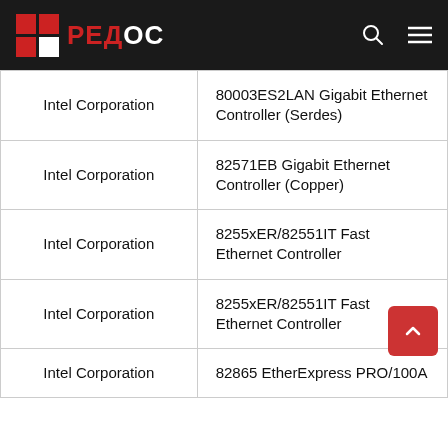РЕДОС
| Vendor | Device |
| --- | --- |
| Intel Corporation | 80003ES2LAN Gigabit Ethernet Controller (Serdes) |
| Intel Corporation | 82571EB Gigabit Ethernet Controller (Copper) |
| Intel Corporation | 8255xER/82551IT Fast Ethernet Controller |
| Intel Corporation | 8255xER/82551IT Fast Ethernet Controller |
| Intel Corporation | 82865 EtherExpress PRO/100A |